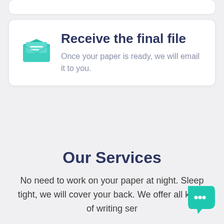Receive the final file
Once your paper is ready, we will email it to you.
Our Services
No need to work on your paper at night. Sleep tight, we will cover your back. We offer all kinds of writing ser…